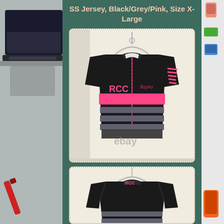SS Jersey, Black/Grey/Pink, Size X-Large
[Figure (photo): Front view of a Rapha RCC black cycling jersey with pink horizontal stripe and grey stripes, short sleeves, with RCC logo on chest and Rapha script logo. Watermarked with ebay logo. Hung on a hanger.]
[Figure (photo): Back view of the same Rapha RCC black cycling jersey showing the back collar area with RCC text in pink.]